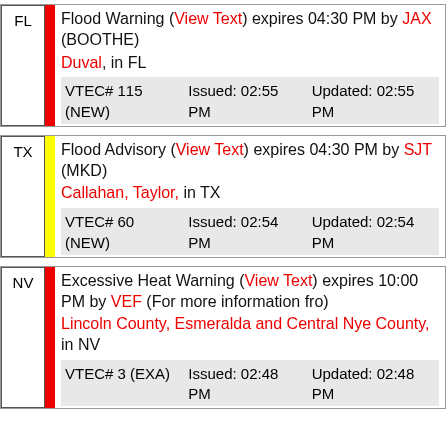| FL | Flood Warning (View Text) expires 04:30 PM by JAX (BOOTHE)
Duval, in FL
VTEC# 115 (NEW) | Issued: 02:55 PM | Updated: 02:55 PM |
| TX | Flood Advisory (View Text) expires 04:30 PM by SJT (MKD)
Callahan, Taylor, in TX
VTEC# 60 (NEW) | Issued: 02:54 PM | Updated: 02:54 PM |
| NV | Excessive Heat Warning (View Text) expires 10:00 PM by VEF (For more information fro)
Lincoln County, Esmeralda and Central Nye County, in NV
VTEC# 3 (EXA) | Issued: 02:48 PM | Updated: 02:48 PM |